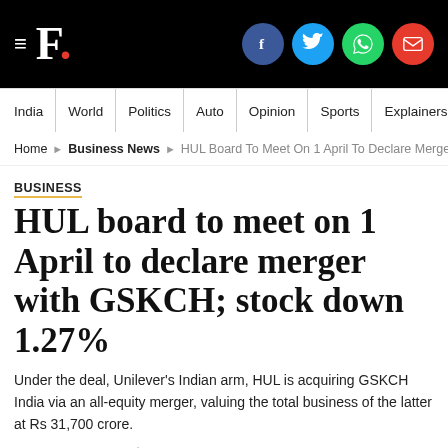F. [Firstpost logo with social sharing icons: Facebook, Twitter, WhatsApp, Email]
India | World | Politics | Auto | Opinion | Sports | Explainers
Home > Business News > HUL Board To Meet On 1 April To Declare Merger W...
BUSINESS
HUL board to meet on 1 April to declare merger with GSKCH; stock down 1.27%
Under the deal, Unilever's Indian arm, HUL is acquiring GSKCH India via an all-equity merger, valuing the total business of the latter at Rs 31,700 crore.
Press Trust of India | March 13, 2020 18:03:25 IST
[Figure (photo): HUL board to meet on 1 April to declare merger with GSKCH; stock down 1.27%]